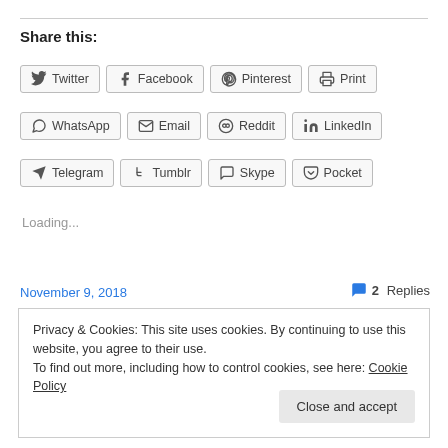Share this:
Twitter
Facebook
Pinterest
Print
WhatsApp
Email
Reddit
LinkedIn
Telegram
Tumblr
Skype
Pocket
Loading...
November 9, 2018
2 Replies
Privacy & Cookies: This site uses cookies. By continuing to use this website, you agree to their use. To find out more, including how to control cookies, see here: Cookie Policy
Close and accept